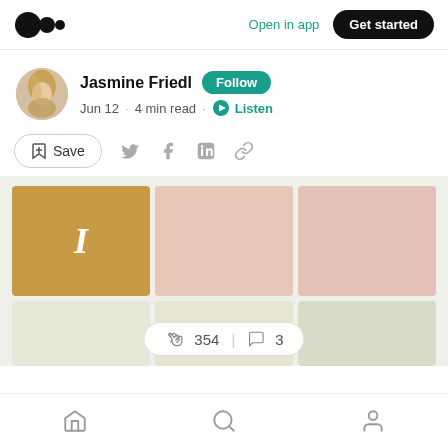Medium logo | Open in app | Get started
Jasmine Friedl  Follow
Jun 12 · 4 min read · Listen
Save  (share icons: Twitter, Facebook, LinkedIn, Link)
[Figure (illustration): A 2x3 grid of color swatches: top row shows a golden/tan square with italic 'I', a salmon/peach square, and a dusty pink square; bottom row shows a cream/beige square, a lighter cream square, and a sage/grey-green square. A floating pill shows '354 claps | 3 comments'.]
Home  Search  Profile (bottom navigation)